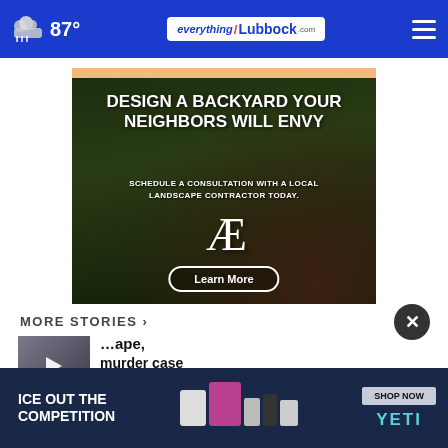87° — everythingLubbock.com
[Figure (photo): Advertisement: Design a backyard your neighbors will envy. Schedule a consultation with a local landscape contractor today. AE logo. Learn More button.]
MORE STORIES >
[Figure (photo): Story thumbnail with play button icon showing a person]
…ape, murder case
[Figure (photo): Bottom banner advertisement: Ice Out The Competition — YETI products — SHOP NOW]